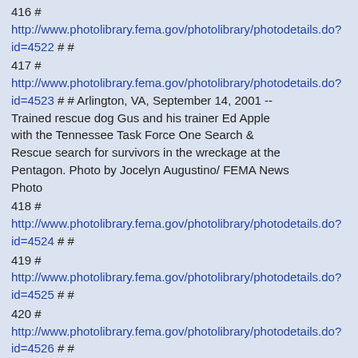416 # http://www.photolibrary.fema.gov/photolibrary/photodetails.do?id=4522 # #
417 # http://www.photolibrary.fema.gov/photolibrary/photodetails.do?id=4523 # # Arlington, VA, September 14, 2001 -- Trained rescue dog Gus and his trainer Ed Apple with the Tennessee Task Force One Search & Rescue search for survivors in the wreckage at the Pentagon. Photo by Jocelyn Augustino/ FEMA News Photo
418 # http://www.photolibrary.fema.gov/photolibrary/photodetails.do?id=4524 # #
419 # http://www.photolibrary.fema.gov/photolibrary/photodetails.do?id=4525 # #
420 # http://www.photolibrary.fema.gov/photolibrary/photodetails.do?id=4526 # #
421 # http://www.photolibrary.fema.gov/photolibrary/photodetails.do?id=4527 # #
422 # http://www.photolibrary.fema.gov/photolibrary/photodetails.do?